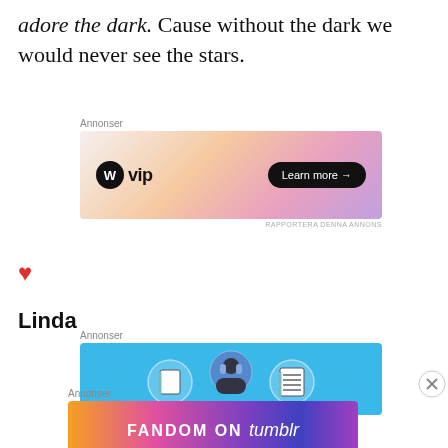adore the dark. Cause without the dark we would never see the stars.
[Figure (illustration): WordPress VIP advertisement banner with orange/pink/purple gradient background, WordPress logo and 'Learn more →' button]
[Figure (illustration): Red heart icon (like button)]
Linda
[Figure (illustration): Blue advertisement banner with illustrated character and notebook/list icons]
[Figure (illustration): Fandom on Tumblr advertisement banner with colorful gradient background]